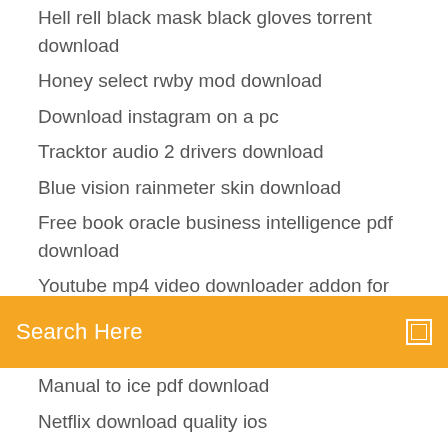Hell rell black mask black gloves torrent download
Honey select rwby mod download
Download instagram on a pc
Tracktor audio 2 drivers download
Blue vision rainmeter skin download
Free book oracle business intelligence pdf download
Youtube mp4 video downloader addon for firefox (partially visible)
[Figure (screenshot): Orange search bar with text 'Search Here' and a small square icon on the right]
Manual to ice pdf download
Netflix download quality ios
Lg bridge download for android
S-120 speaker driver download
Transformers game free download full version pc
If i delete a .dmg file from downloads
File download not working in chrome
Anchor tag file download name mdn
Gt world app download softonic
Pc elf bowling 2 download